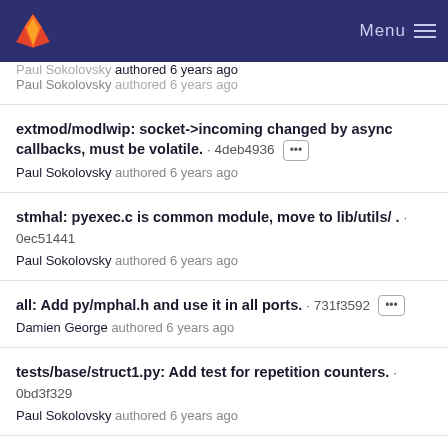Menu
Paul Sokolovsky authored 6 years ago
extmod/modlwip: socket->incoming changed by async callbacks, must be volatile. · 4deb4936 ··· Paul Sokolovsky authored 6 years ago
stmhal: pyexec.c is common module, move to lib/utils/ . · 0ec51441 Paul Sokolovsky authored 6 years ago
all: Add py/mphal.h and use it in all ports. · 731f3592 ··· Damien George authored 6 years ago
tests/base/struct1.py: Add test for repetition counters. · 0bd3f329 Paul Sokolovsky authored 6 years ago
py/modstruct: Support repetition counters for all types, not just string. · 2b080cf5 ··· Paul Sokolovsky authored 6 years ago